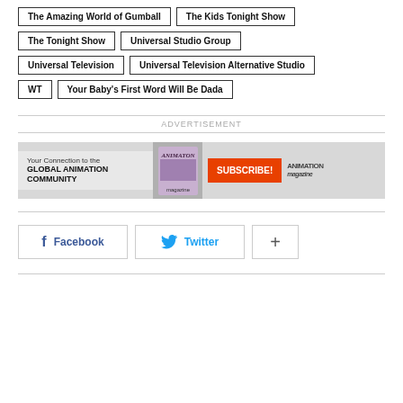The Amazing World of Gumball
The Kids Tonight Show
The Tonight Show
Universal Studio Group
Universal Television
Universal Television Alternative Studio
WT
Your Baby's First Word Will Be Dada
ADVERTISEMENT
[Figure (other): Animation Magazine subscription advertisement banner showing magazine cover, text 'Your Connection to the GLOBAL ANIMATION COMMUNITY', SUBSCRIBE! button, and Animation Magazine logo]
Facebook
Twitter